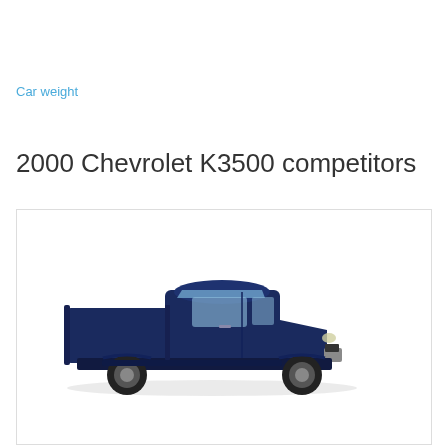Car weight
2000 Chevrolet K3500 competitors
[Figure (photo): Dark navy blue pickup truck (Dodge Ram style, large 3/4 or 1-ton truck) shown from a front-left three-quarter angle, displayed inside a white bordered box.]